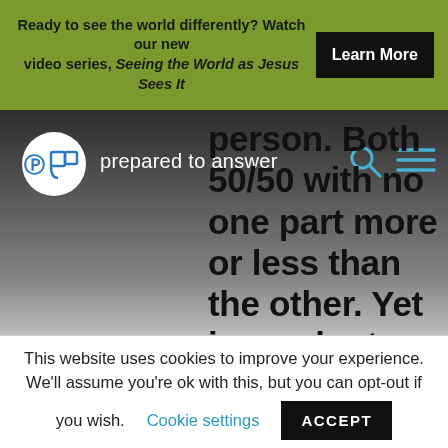Ready to see the world differently? Watch our new video series, Seeing the World as Jesus Sees It | Learn More
[Figure (screenshot): Website header with 'prepared to answer' logo and navigation icons, overlaid with article body text: 'person. Both 50/50 with no one part more or less than the other. Yet ino roder to keep the psirit life, and become fully human, we must receive Yoshua Jesus']
This website uses cookies to improve your experience. We'll assume you're ok with this, but you can opt-out if you wish. Cookie settings ACCEPT